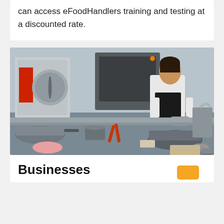can access eFoodHandlers training and testing at a discounted rate.
[Figure (photo): A female chef in a white coat and black apron working in a busy professional kitchen with stainless steel equipment, pots, pans, and food ingredients spread across the counter.]
Businesses